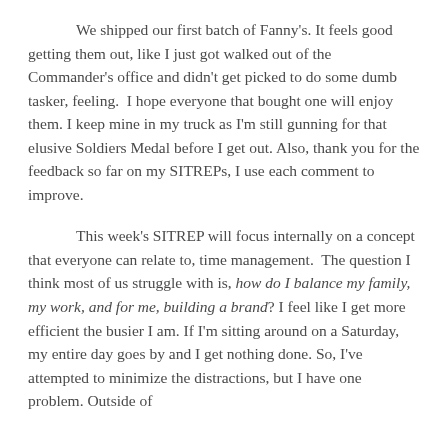We shipped our first batch of Fanny's. It feels good getting them out, like I just got walked out of the Commander's office and didn't get picked to do some dumb tasker, feeling.  I hope everyone that bought one will enjoy them. I keep mine in my truck as I'm still gunning for that elusive Soldiers Medal before I get out. Also, thank you for the feedback so far on my SITREPs, I use each comment to improve.
This week's SITREP will focus internally on a concept that everyone can relate to, time management.  The question I think most of us struggle with is, how do I balance my family, my work, and for me, building a brand? I feel like I get more efficient the busier I am. If I'm sitting around on a Saturday, my entire day goes by and I get nothing done. So, I've attempted to minimize the distractions, but I have one problem. Outside of